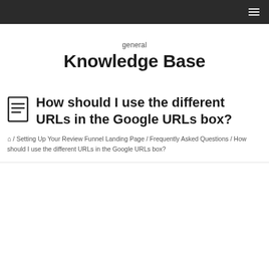≡
general
Knowledge Base
How should I use the different URLs in the Google URLs box?
🏠 / Setting Up Your Review Funnel Landing Page / Frequently Asked Questions / How should I use the different URLs in the Google URLs box?